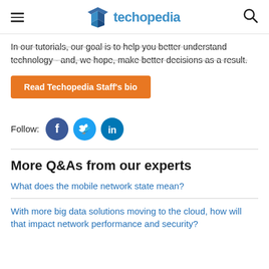techopedia
In our tutorials, our goal is to help you better understand technology - and, we hope, make better decisions as a result.
Read Techopedia Staff's bio
Follow:
More Q&As from our experts
What does the mobile network state mean?
With more big data solutions moving to the cloud, how will that impact network performance and security?